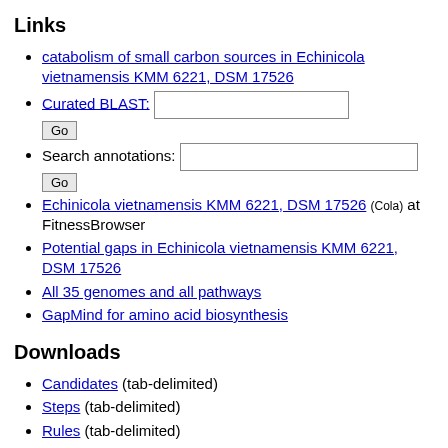Links
catabolism of small carbon sources in Echinicola vietnamensis KMM 6221, DSM 17526
Curated BLAST: [text input] Go
Search annotations: [text input] Go
Echinicola vietnamensis KMM 6221, DSM 17526 (Cola) at FitnessBrowser
Potential gaps in Echinicola vietnamensis KMM 6221, DSM 17526
All 35 genomes and all pathways
GapMind for amino acid biosynthesis
Downloads
Candidates (tab-delimited)
Steps (tab-delimited)
Rules (tab-delimited)
Protein sequences (fasta format)
Organisms (tab-delimited)
SQLite3 databases